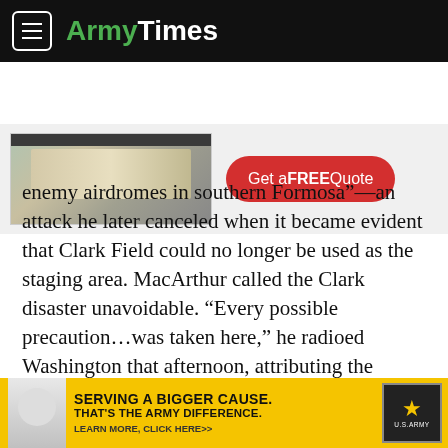ArmyTimes
[Figure (photo): Kitchen advertisement banner with image of modern kitchen and a red 'Get a FREE Quote' button]
enemy airdromes in southern Formosa”—an attack he later canceled when it became evident that Clark Field could no longer be used as the staging area. MacArthur called the Clark disaster unavoidable. “Every possible precaution…was taken here,” he radioed Washington that afternoon, attributing the losses “entirely to the overwhelming superiority of the enemy force.”
Hap Arnold placed a blistering phone call to Brereton
[Figure (infographic): Army recruitment advertisement banner: 'SERVING A BIGGER CAUSE. THAT'S THE ARMY DIFFERENCE. LEARN MORE, CLICK HERE>>' with doctor image and US Army star logo]